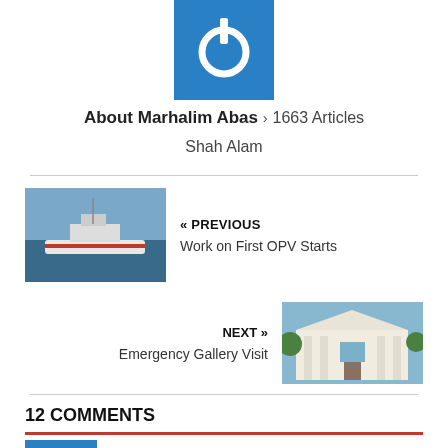[Figure (logo): Blue square logo with white power button icon]
About Marhalim Abas > 1663 Articles
Shah Alam
[Figure (photo): Photo of coast guard or navy ship on water]
« PREVIOUS
Work on First OPV Starts
NEXT »
Emergency Gallery Visit
[Figure (photo): Photo of a white colonial-style building with columns]
12 COMMENTS
[Figure (logo): Blue avatar icon at bottom]